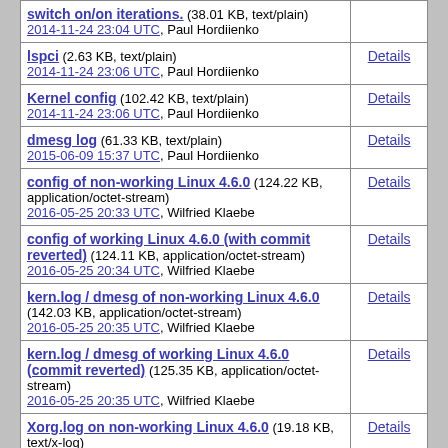| File | Details |
| --- | --- |
| switch on/on iterations. (38.01 KB, text/plain)
2014-11-24 23:04 UTC, Paul Hordiienko |  |
| lspci (2.63 KB, text/plain)
2014-11-24 23:06 UTC, Paul Hordiienko | Details |
| Kernel config (102.42 KB, text/plain)
2014-11-24 23:06 UTC, Paul Hordiienko | Details |
| dmesg log (61.33 KB, text/plain)
2015-06-09 15:37 UTC, Paul Hordiienko | Details |
| config of non-working Linux 4.6.0 (124.22 KB, application/octet-stream)
2016-05-25 20:33 UTC, Wilfried Klaebe | Details |
| config of working Linux 4.6.0 (with commit reverted) (124.11 KB, application/octet-stream)
2016-05-25 20:34 UTC, Wilfried Klaebe | Details |
| kern.log / dmesg of non-working Linux 4.6.0 (142.03 KB, application/octet-stream)
2016-05-25 20:35 UTC, Wilfried Klaebe | Details |
| kern.log / dmesg of working Linux 4.6.0 (commit reverted) (125.35 KB, application/octet-stream)
2016-05-25 20:35 UTC, Wilfried Klaebe | Details |
| Xorg.log on non-working Linux 4.6.0 (19.18 KB, text/x-log)
2016-05-25 20:36 UTC, Wilfried Klaebe | Details |
| Xorg.log on working Linux 4.6.0 (commit reverted) (49.54 KB, text/x-log) | Details |